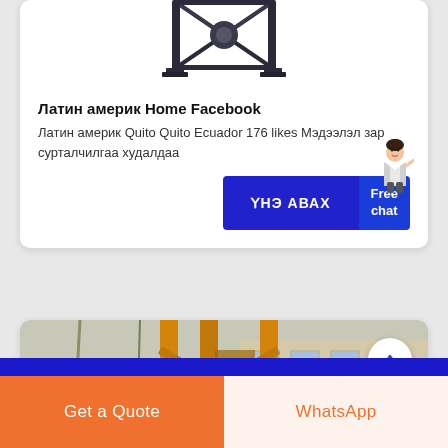[Figure (photo): Industrial machine or mixer equipment, dark metal frame, viewed from below/side, top portion of product image]
Латин америк Home Facebook
Латин америк Quito Quito Ecuador 176 likes Мэдээлэл зар сурталчилгаа худалдаа
[Figure (illustration): Small avatar of a woman in white blazer pointing, positioned at the right side of the card]
[Figure (photo): Large yellow crane structure outdoors with trees and buildings in background, construction equipment scene]
Get a Quote
WhatsApp